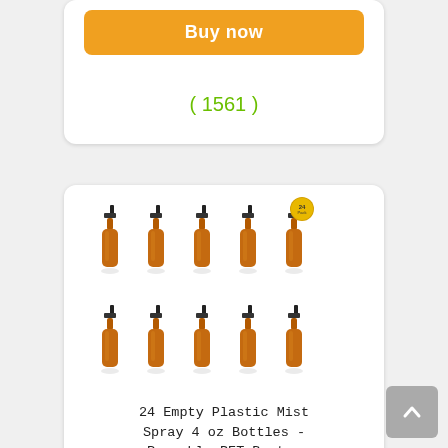[Figure (other): Orange 'Buy now' button at top of product card]
( 1561 )
[Figure (photo): 24 amber plastic spray bottles arranged in two rows of 5, with a '24 Pack' badge]
24 Empty Plastic Mist Spray 4 oz Bottles - Reusable PET Boston Round Squeeze Containers with Misters for Home S...
Price : $22.99 ($22.99 / Count)